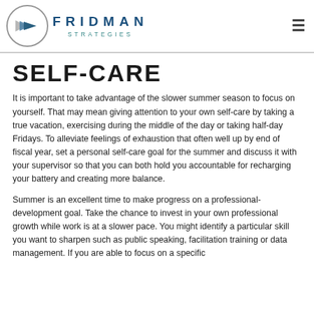FRIDMAN STRATEGIES
SELF-CARE
It is important to take advantage of the slower summer season to focus on yourself. That may mean giving attention to your own self-care by taking a true vacation, exercising during the middle of the day or taking half-day Fridays. To alleviate feelings of exhaustion that often well up by end of fiscal year, set a personal self-care goal for the summer and discuss it with your supervisor so that you can both hold you accountable for recharging your battery and creating more balance.
Summer is an excellent time to make progress on a professional-development goal. Take the chance to invest in your own professional growth while work is at a slower pace. You might identify a particular skill you want to sharpen such as public speaking, facilitation training or data management. If you are able to focus on a specific